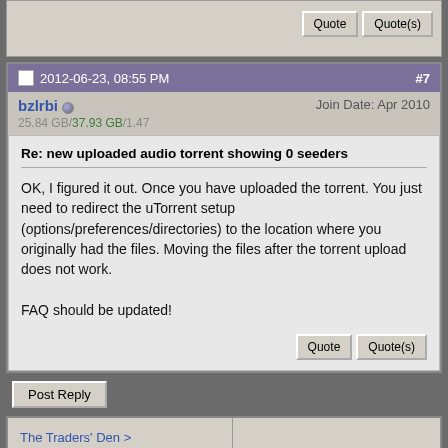Quote | Quote(s)
2012-06-23, 08:55 PM #7
bzlrbi (online) Join Date: Apr 2010
25.84 GB/37.93 GB/1.47
Re: new uploaded audio torrent showing 0 seeders
OK, I figured it out. Once you have uploaded the torrent. You just need to redirect the uTorrent setup (options/preferences/directories) to the location where you originally had the files. Moving the files after the torrent upload does not work.

FAQ should be updated!
Quote | Quote(s)
Post Reply
The Traders' Den > Where we go to learn ..... > Technobabble
Similar Threads